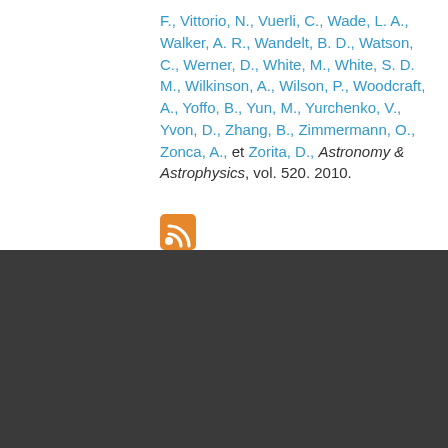F., Vittorio, N., Vuerli, C., Wade, L. A., Walker, A. R., Wandelt, B. D., Watson, C., Werner, D., White, M., White, S. D. M., Wilkinson, A., Wilson, P., Woodcraft, A., Yoffo, B., Yun, M., Yurchenko, V., Yvon, D., Zhang, B., Zimmermann, O., Zonca, A., et Zorita, D., Astronomy & Astrophysics, vol. 520. 2010.
[Figure (other): RSS feed icon (orange square with white radio waves)]
We use cookies on this site to enhance your user experience
By clicking the Accept button, you agree to us doing so.
No, give me more info
OK, I agree   No, thanks